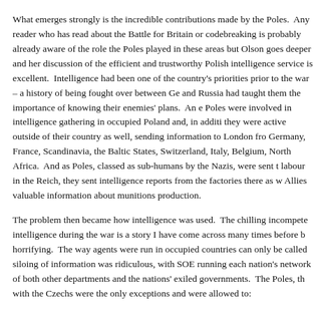What emerges strongly is the incredible contributions made by the Poles. Any reader who has read about the Battle for Britain or codebreaking is probably already aware of the role the Poles played in these areas but Olson goes deeper and her discussion of the efficient and trustworthy Polish intelligence service is excellent. Intelligence had been one of the country's priorities prior to the war – a history of being fought over between Germany and Russia had taught them the importance of knowing their enemies' plans. An enormous number of Poles were involved in intelligence gathering in occupied Poland and, in addition to this, they were active outside of their country as well, sending information to London from Germany, France, Scandinavia, the Baltic States, Switzerland, Italy, Belgium, and North Africa. And as Poles, classed as sub-humans by the Nazis, were sent to forced labour in the Reich, they sent intelligence reports from the factories there as well, giving the Allies valuable information about munitions production.
The problem then became how intelligence was used. The chilling incompetence over intelligence during the war is a story I have come across many times before but is always horrifying. The way agents were run in occupied countries can only be called criminal. The siloing of information was ridiculous, with SOE running each nation's network in ignorance of both other departments and the nations' exiled governments. The Poles, though, along with the Czechs were the only exceptions and were allowed to:
Operate their own training establishments, codes, ciphers, and radio links without MI6 control, with the proviso that they pass on all intelligence useful to the Allied war effort.